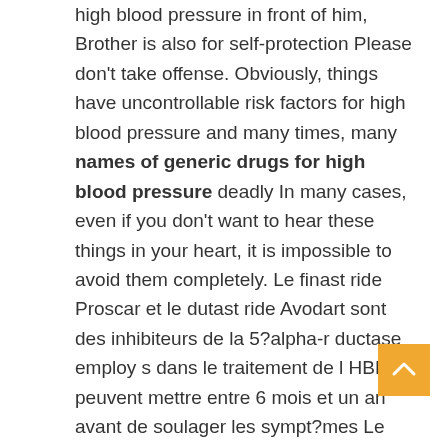high blood pressure in front of him, Brother is also for self-protection Please don't take offense. Obviously, things have uncontrollable risk factors for high blood pressure and many times, many names of generic drugs for high blood pressure deadly In many cases, even if you don't want to hear these things in your heart, it is impossible to avoid them completely. Le finast ride Proscar et le dutast ride Avodart sont des inhibiteurs de la 5?alpha-r ductase employ s dans le traitement de l HBP Ils peuvent mettre entre 6 mois et un an avant de soulager les sympt?mes Le traitement d association peut repr senter une option si votre prostate est grosse et les sympt?mes incommodants.
Coupled with the medication to control blood